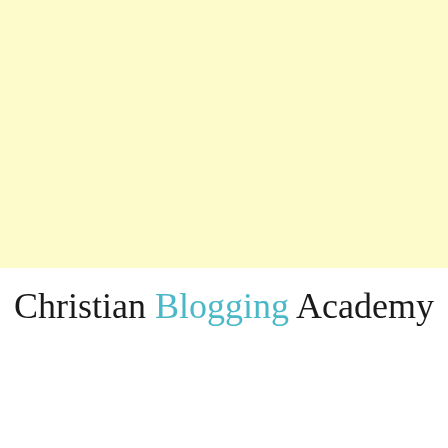[Figure (illustration): Solid light yellow/cream colored rectangular block occupying the top portion of the page]
Christian Blogging Academy